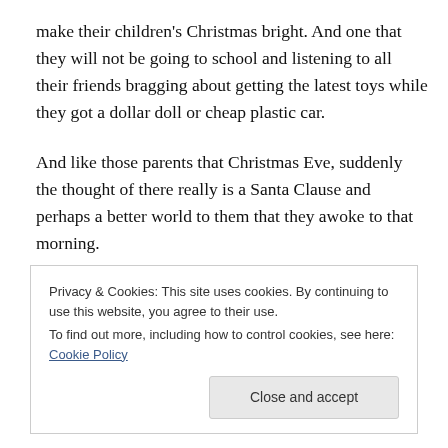make their children's Christmas bright. And one that they will not be going to school and listening to all their friends bragging about getting the latest toys while they got a dollar doll or cheap plastic car.
And like those parents that Christmas Eve, suddenly the thought of there really is a Santa Clause and perhaps a better world to them that they awoke to that morning.
Privacy & Cookies: This site uses cookies. By continuing to use this website, you agree to their use.
To find out more, including how to control cookies, see here: Cookie Policy
Close and accept